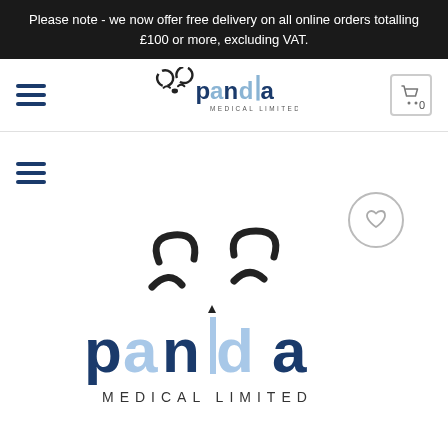Please note - we now offer free delivery on all online orders totalling £100 or more, excluding VAT.
[Figure (logo): Panda Medical Limited logo in header - small version with panda face icon and stylized text]
[Figure (logo): Panda Medical Limited logo - large centered version with panda face icon and stylized 'panda MEDICAL LIMITED' text in navy and light blue]